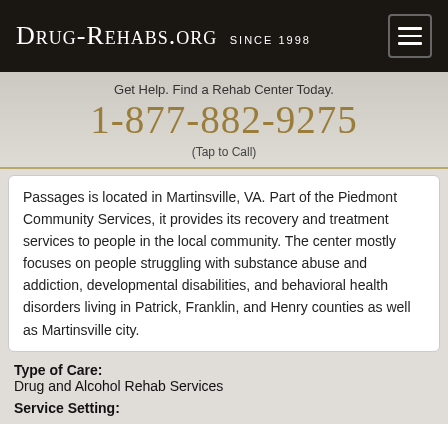Drug-Rehabs.org Since 1998
Get Help. Find a Rehab Center Today.
1-877-882-9275
(Tap to Call)
Passages is located in Martinsville, VA. Part of the Piedmont Community Services, it provides its recovery and treatment services to people in the local community. The center mostly focuses on people struggling with substance abuse and addiction, developmental disabilities, and behavioral health disorders living in Patrick, Franklin, and Henry counties as well as Martinsville city.
Type of Care:
Drug and Alcohol Rehab Services
Service Setting: